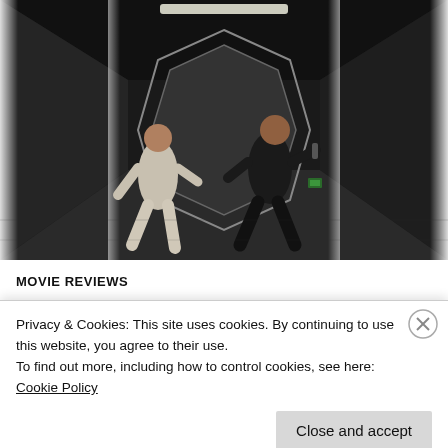[Figure (photo): Two figures in a sci-fi corridor fight scene. One figure in white clothing on the left, one in black on the right. The corridor has hexagonal door frames with glowing white edges and a reflective floor.]
MOVIE REVIEWS
CINEMA MANIAC:
Privacy & Cookies: This site uses cookies. By continuing to use this website, you agree to their use.
To find out more, including how to control cookies, see here: Cookie Policy
Close and accept